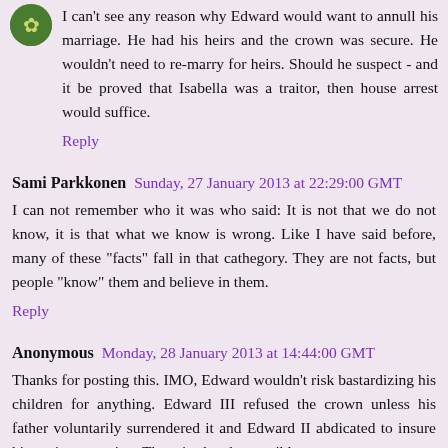I can't see any reason why Edward would want to annull his marriage. He had his heirs and the crown was secure. He wouldn't need to re-marry for heirs. Should he suspect - and it be proved that Isabella was a traitor, then house arrest would suffice.
Reply
Sami Parkkonen  Sunday, 27 January 2013 at 22:29:00 GMT
I can not remember who it was who said: It is not that we do not know, it is that what we know is wrong. Like I have said before, many of these "facts" fall in that cathegory. They are not facts, but people "know" them and believe in them.
Reply
Anonymous  Monday, 28 January 2013 at 14:44:00 GMT
Thanks for posting this. IMO, Edward wouldn't risk bastardizing his children for anything. Edward III refused the crown unless his father voluntarily surrendered it and Edward II abdicated to insure his son's succession. There is also the possible contact